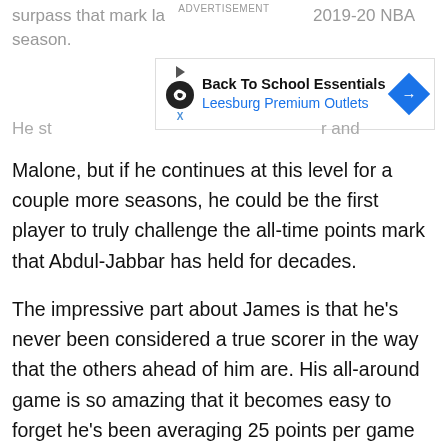surpass that mark last season in the 2019-20 NBA season.
[Figure (other): Advertisement banner for Back To School Essentials at Leesburg Premium Outlets with play button, infinity loop icon, and navigation arrow logo]
He st... r and Malone, but if he continues at this level for a couple more seasons, he could be the first player to truly challenge the all-time points mark that Abdul-Jabbar has held for decades.
The impressive part about James is that he's never been considered a true scorer in the way that the others ahead of him are. His all-around game is so amazing that it becomes easy to forget he's been averaging 25 points per game since his second NBA season.
It is that level of consistency that very few can